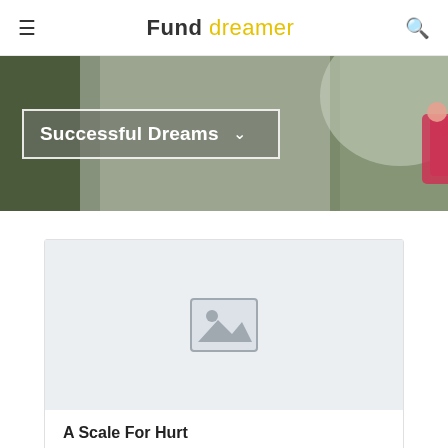Fund dreamer
[Figure (photo): Hero banner image showing a person with outstretched arm in a foggy outdoor setting. Overlay dropdown box reads 'Successful Dreams']
[Figure (photo): Placeholder image thumbnail (grey background with image placeholder icon)]
A Scale For Hurt
by Julia Ngeow
A short narrative film based on the poem "A Scale For Hurt" by Brooklyn writer Leena Soman.
Donate Now